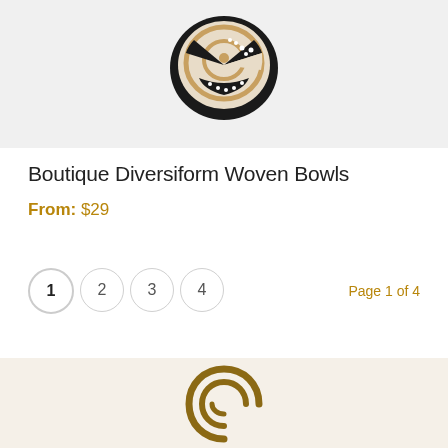[Figure (photo): Overhead view of a woven bowl with black, white, and tan spiral pattern against a light gray background]
Boutique Diversiform Woven Bowls
From: $29
1  2  3  4   Page 1 of 4
[Figure (logo): Circular swirl logo at bottom of page on cream/beige background]